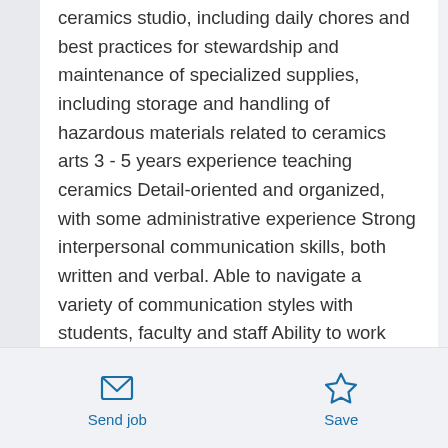ceramics studio, including daily chores and best practices for stewardship and maintenance of specialized supplies, including storage and handling of hazardous materials related to ceramics arts 3 - 5 years experience teaching ceramics Detail-oriented and organized, with some administrative experience Strong interpersonal communication skills, both written and verbal. Able to navigate a variety of communication styles with students, faculty and staff Ability to work well independently, as well as collaboratively Demonstrated experience as a ceramicist with excellent working knowledge of ceramics art processes, including hand building,
Send job | Save